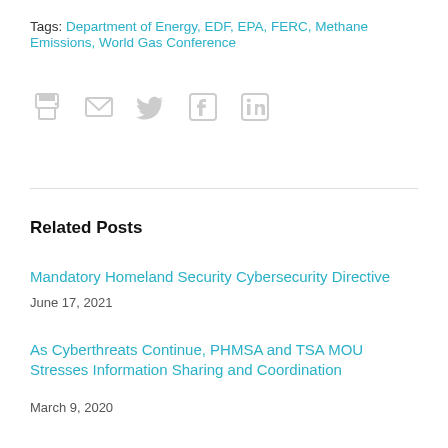Tags: Department of Energy, EDF, EPA, FERC, Methane Emissions, World Gas Conference
[Figure (infographic): Social sharing icons: print, email, Twitter, Facebook, LinkedIn]
Related Posts
Mandatory Homeland Security Cybersecurity Directive
June 17, 2021
As Cyberthreats Continue, PHMSA and TSA MOU Stresses Information Sharing and Coordination
March 9, 2020